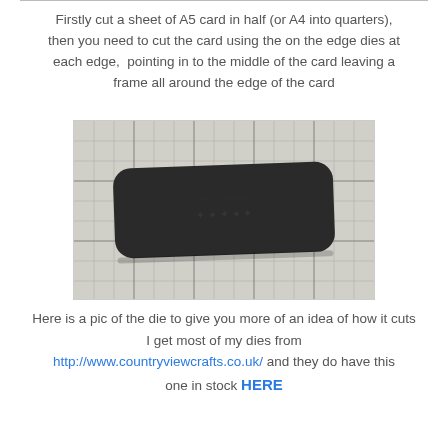Firstly cut a sheet of A5 card in half (or A4 into quarters), then you need to cut the card using the on the edge dies at each edge,  pointing in to the middle of the card leaving a frame all around the edge of the card
[Figure (photo): A dark grey/black rectangular die cutting tool with rounded corners and embossed pattern on top, photographed on a white grid cutting mat.]
Here is a pic of the die to give you more of an idea of how it cuts
I get most of my dies from
http://www.countryviewcrafts.co.uk/ and they do have this one in stock HERE